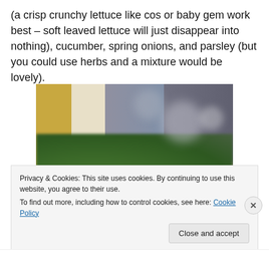(a crisp crunchy lettuce like cos or baby gem work best – soft leaved lettuce will just disappear into nothing), cucumber, spring onions, and parsley (but you could use herbs and a mixture would be lovely).
[Figure (photo): A blurred close-up photo of fresh green herbs (parsley) with bokeh background showing grey blurred circles, a yellow cylindrical object on the left, and a peach/tan surface visible at the bottom right.]
Privacy & Cookies: This site uses cookies. By continuing to use this website, you agree to their use.
To find out more, including how to control cookies, see here: Cookie Policy